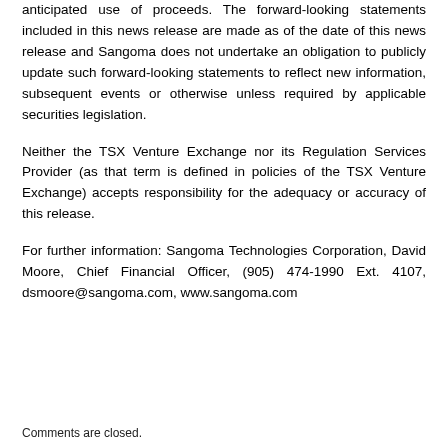anticipated use of proceeds. The forward-looking statements included in this news release are made as of the date of this news release and Sangoma does not undertake an obligation to publicly update such forward-looking statements to reflect new information, subsequent events or otherwise unless required by applicable securities legislation.
Neither the TSX Venture Exchange nor its Regulation Services Provider (as that term is defined in policies of the TSX Venture Exchange) accepts responsibility for the adequacy or accuracy of this release.
For further information: Sangoma Technologies Corporation, David Moore, Chief Financial Officer, (905) 474-1990 Ext. 4107, dsmoore@sangoma.com, www.sangoma.com
Comments are closed.